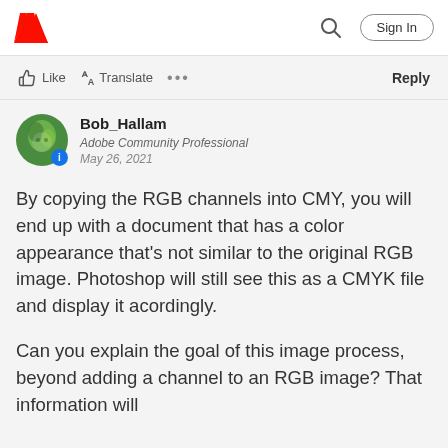Adobe community page header with Adobe logo, search icon, and Sign In button
Like  Translate  ...  Reply
Bob_Hallam
Adobe Community Professional
May 26, 2021
By copying the RGB channels into CMY, you will end up with a document that has a color appearance that's not similar to the original RGB image. Photoshop will still see this as a CMYK file and display it acordingly.
Can you explain the goal of this image process, beyond adding a channel to an RGB image? That information will